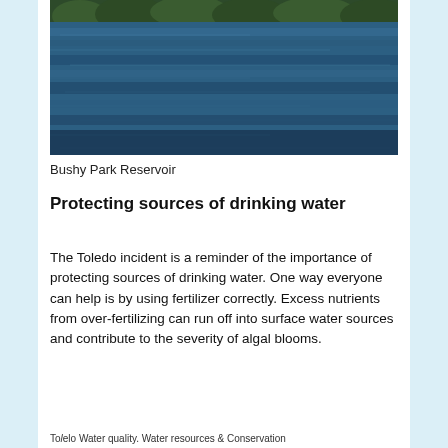[Figure (photo): Aerial or ground-level photo of Bushy Park Reservoir showing blue water with a tree line visible at the top edge of the image.]
Bushy Park Reservoir
Protecting sources of drinking water
The Toledo incident is a reminder of the importance of protecting sources of drinking water. One way everyone can help is by using fertilizer correctly. Excess nutrients from over-fertilizing can run off into surface water sources and contribute to the severity of algal blooms.
To help. Water quality. Water resources & Conservation